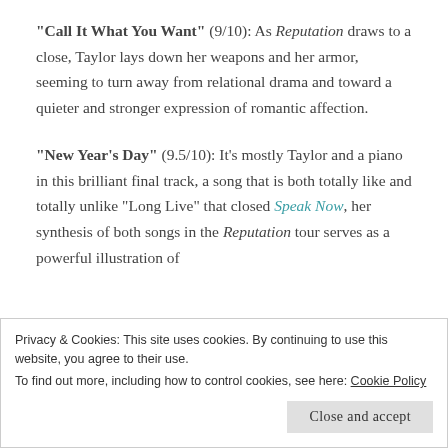"Call It What You Want" (9/10): As Reputation draws to a close, Taylor lays down her weapons and her armor, seeming to turn away from relational drama and toward a quieter and stronger expression of romantic affection.
"New Year's Day" (9.5/10): It's mostly Taylor and a piano in this brilliant final track, a song that is both totally like and totally unlike "Long Live" that closed Speak Now, her synthesis of both songs in the Reputation tour serves as a powerful illustration of
Privacy & Cookies: This site uses cookies. By continuing to use this website, you agree to their use. To find out more, including how to control cookies, see here: Cookie Policy
Close and accept